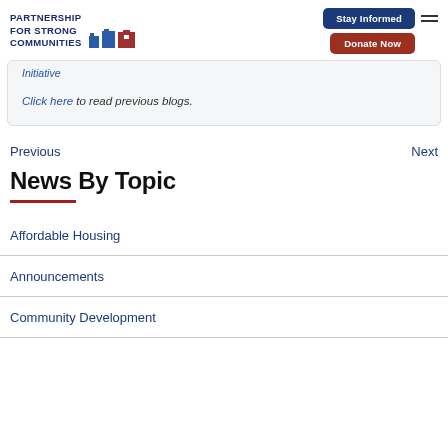PARTNERSHIP FOR STRONG COMMUNITIES | Stay Informed | Donate Now
Initiative
Click here to read previous blogs.
Previous   Next
News By Topic
Affordable Housing
Announcements
Community Development